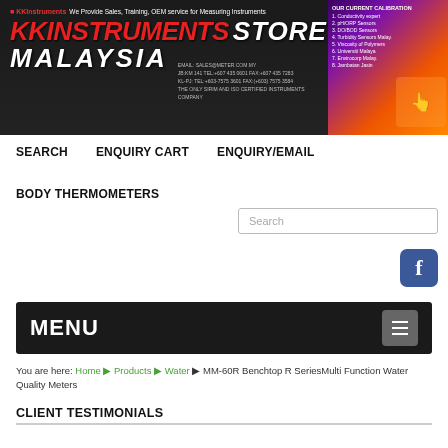[Figure (screenshot): KKInstruments Store Malaysia banner with red brand text, store name, and thermal camera image on purple/orange gradient background]
SEARCH   ENQUIRY CART   ENQUIRY/EMAIL
BODY THERMOMETERS
Search
[Figure (logo): Facebook logo icon, blue square with white f]
MENU
You are here: Home ▶ Products ▶ Water ▶ MM-60R Benchtop R SeriesMulti Function Water Quality Meters
CLIENT TESTIMONIALS